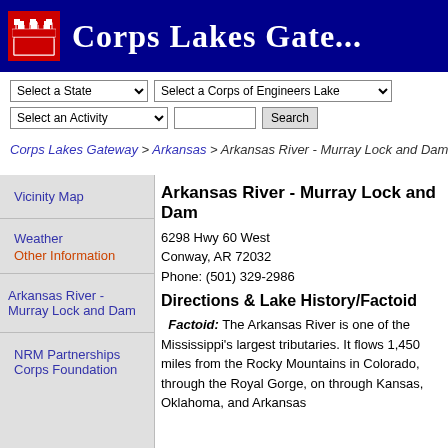Corps Lakes Gate...
Corps Lakes Gateway > Arkansas > Arkansas River - Murray Lock and Dam (Mcclellan-Kerr Ark Rvr Nav Sys)
Arkansas River - Murray Lock and Dam
6298 Hwy 60 West
Conway, AR 72032
Phone: (501) 329-2986
Directions & Lake History/Factoid
Factoid: The Arkansas River is one of the Mississippi's largest tributaries. It flows 1,450 miles from the Rocky Mountains in Colorado, through the Royal Gorge, on through Kansas, Oklahoma, and Arkansas
Vicinity Map
Weather
Other Information
Arkansas River - Murray Lock and Dam
NRM Partnerships
Corps Foundation